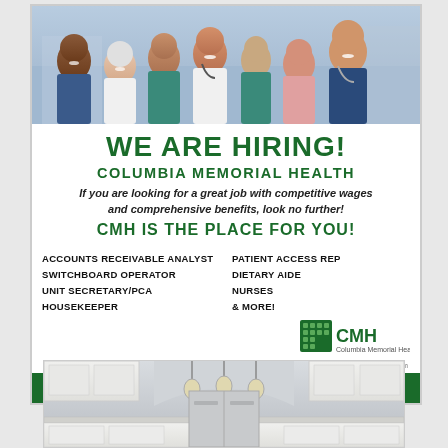[Figure (photo): Group photo of diverse healthcare workers smiling, in scrubs and professional attire]
WE ARE HIRING!
COLUMBIA MEMORIAL HEALTH
If you are looking for a great job with competitive wages and comprehensive benefits, look no further!
CMH IS THE PLACE FOR YOU!
ACCOUNTS RECEIVABLE ANALYST
SWITCHBOARD OPERATOR
UNIT SECRETARY/PCA
HOUSEKEEPER
PATIENT ACCESS REP
DIETARY AIDE
NURSES
& MORE!
Apply Today: ColumbiaMemorialHealth.org/careers
[Figure (photo): Kitchen interior with white cabinets, pendant lights, and stainless appliances]